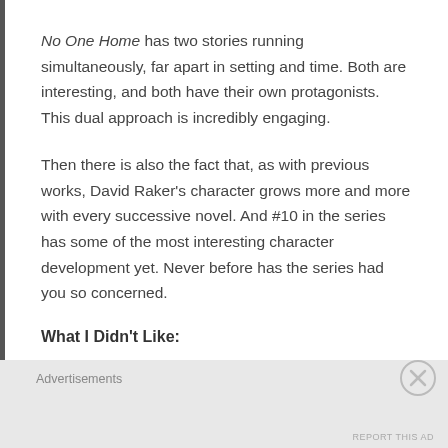No One Home has two stories running simultaneously, far apart in setting and time. Both are interesting, and both have their own protagonists. This dual approach is incredibly engaging.
Then there is also the fact that, as with previous works, David Raker's character grows more and more with every successive novel. And #10 in the series has some of the most interesting character development yet. Never before has the series had you so concerned.
What I Didn't Like:
Advertisements